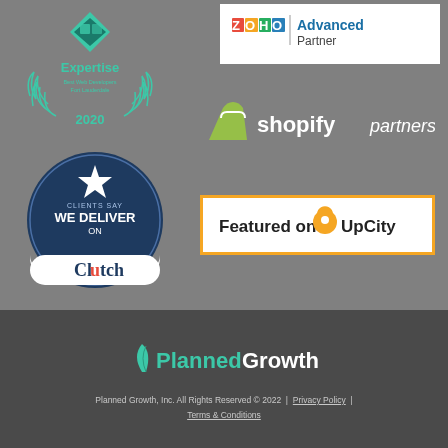[Figure (logo): Expertise badge — Best Web Developers Fort Lauderdale 2020, teal laurel wreath with diamond logo]
[Figure (logo): Zoho Advanced Partner badge on white background]
[Figure (logo): Shopify Partners logo with shopping bag icon]
[Figure (logo): Clutch badge — Clients Say We Deliver On Clutch]
[Figure (logo): Featured on UpCity badge with orange border]
[Figure (logo): Planned Growth company logo in teal and yellow/white]
Planned Growth, Inc. All Rights Reserved © 2022  |  Privacy Policy  |  Terms & Conditions